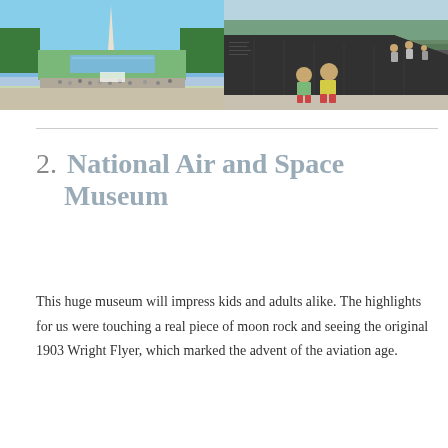[Figure (photo): Two photos side by side: left shows the National Mall with the Washington Monument and reflecting pool; right shows two children walking along the Vietnam Veterans Memorial wall.]
2. National Air and Space Museum
This huge museum will impress kids and adults alike. The highlights for us were touching a real piece of moon rock and seeing the original 1903 Wright Flyer, which marked the advent of the aviation age.